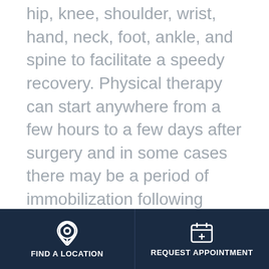hip, knee, shoulder, wrist, hand, neck, foot, ankle, and spine to facilitate a speedy recovery. Physical therapy can start anywhere from a few hours to a few days after surgery and in some cases there may be a period of immobilization following surgery.

Also, while most of us are familiar with a comprehensive post-surgical rehabilitation program,
FIND A LOCATION | REQUEST APPOINTMENT